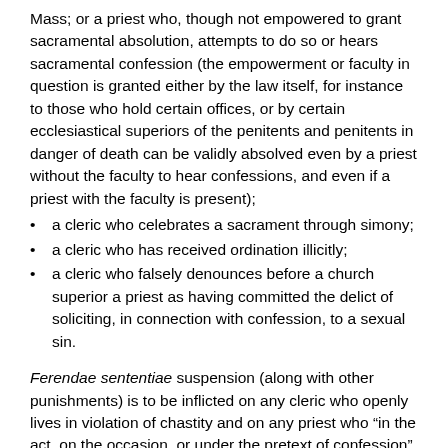Mass; or a priest who, though not empowered to grant sacramental absolution, attempts to do so or hears sacramental confession (the empowerment or faculty in question is granted either by the law itself, for instance to those who hold certain offices, or by certain ecclesiastical superiors of the penitents and penitents in danger of death can be validly absolved even by a priest without the faculty to hear confessions, and even if a priest with the faculty is present);
a cleric who celebrates a sacrament through simony;
a cleric who has received ordination illicitly;
a cleric who falsely denounces before a church superior a priest as having committed the delict of soliciting, in connection with confession, to a sexual sin.
Ferendae sententiae suspension (along with other punishments) is to be inflicted on any cleric who openly lives in violation of chastity and on any priest who “in the act, on the occasion, or under the pretext of confession” solicits a penitent to a sexual